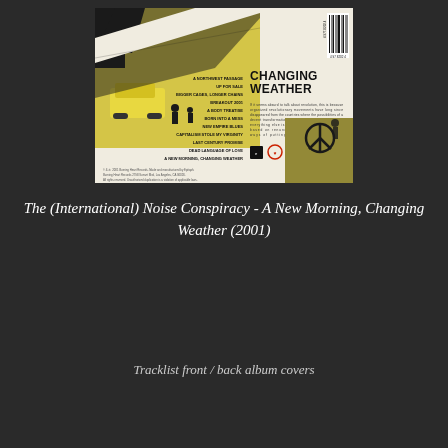[Figure (photo): Back cover of album 'A New Morning, Changing Weather' by The (International) Noise Conspiracy (2001). White background with yellow and black urban photo collage top-left, tracklist on left side, album title 'CHANGING WEATHER' on right, barcode top-right, label logos, small descriptive text, and a small photo bottom-right corner.]
The (International) Noise Conspiracy - A New Morning, Changing Weather (2001)
Tracklist front / back album covers